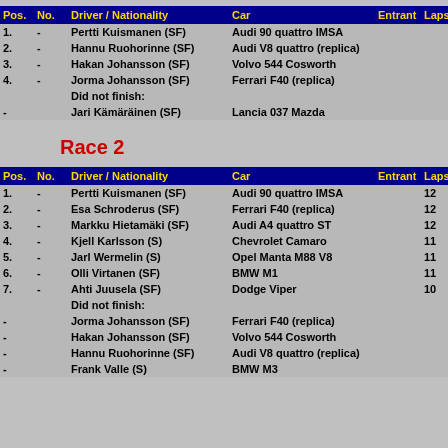| Pos. | No. | Driver / Nationality | Car | Entrant | Laps | Time/re |
| --- | --- | --- | --- | --- | --- | --- |
| 1. | - | Pertti Kuismanen (SF) | Audi 90 quattro IMSA |  |  |  |
| 2. | - | Hannu Ruohorinne (SF) | Audi V8 quattro (replica) |  |  |  |
| 3. | - | Hakan Johansson (SF) | Volvo 544 Cosworth |  |  |  |
| 4. | - | Jorma Johansson (SF) | Ferrari F40 (replica) |  |  |  |
|  |  | Did not finish: |  |  |  |  |
| - |  | Jari Kämäräinen (SF) | Lancia 037 Mazda |  |  | DNF |
Race 2
| Pos. | No. | Driver / Nationality | Car | Entrant | Laps | Time/re |
| --- | --- | --- | --- | --- | --- | --- |
| 1. | - | Pertti Kuismanen (SF) | Audi 90 quattro IMSA |  | 12 | 0:15:31 |
| 2. | - | Esa Schroderus (SF) | Ferrari F40 (replica) |  | 12 | 0:16:45 |
| 3. | - | Markku Hietamäki (SF) | Audi A4 quattro ST |  | 12 | 0:16:50 |
| 4. | - | Kjell Karlsson (S) | Chevrolet Camaro |  | 11 |  |
| 5. | - | Jarl Wermelin (S) | Opel Manta M88 V8 |  | 11 |  |
| 6. | - | Olli Virtanen (SF) | BMW M1 |  | 11 |  |
| 7. | - | Ahti Juusela (SF) | Dodge Viper |  | 10 |  |
|  |  | Did not finish: |  |  |  |  |
| - |  | Jorma Johansson (SF) | Ferrari F40 (replica) |  |  | DNF |
| - |  | Hakan Johansson (SF) | Volvo 544 Cosworth |  |  | DNF |
| - |  | Hannu Ruohorinne (SF) | Audi V8 quattro (replica) |  |  | DNF |
| - |  | Frank Valle (S) | BMW M3 |  |  | DNF |